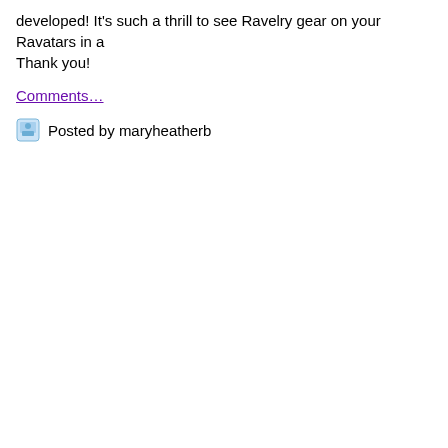developed! It's such a thrill to see Ravelry gear on your Ravatars in a… Thank you!
Comments…
Posted by maryheatherb